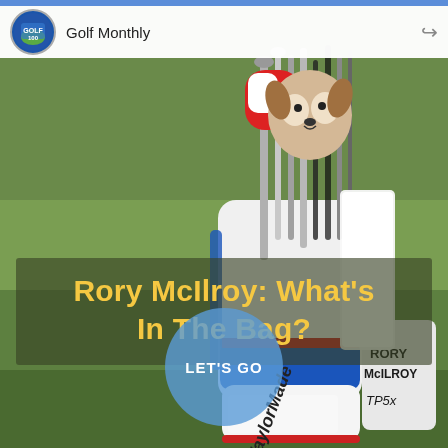[Figure (photo): Rory McIlroy's TaylorMade golf bag with clubs and a dog head cover, standing on a golf course fairway with blurred green background. The bag is white/blue/red with 'RORY McILROY TP5x' branding on the side.]
Golf Monthly
Rory McIlroy: What's In The Bag?
LET'S GO